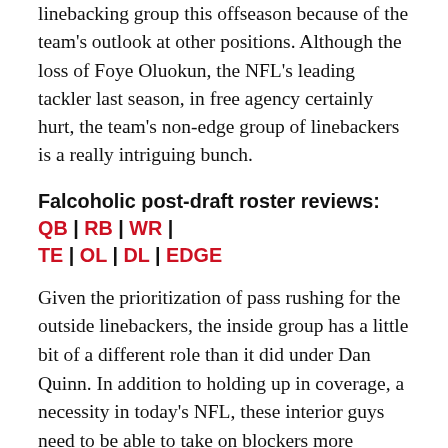linebacking group this offseason because of the team's outlook at other positions. Although the loss of Foye Oluokun, the NFL's leading tackler last season, in free agency certainly hurt, the team's non-edge group of linebackers is a really intriguing bunch.
Falcoholic post-draft roster reviews: QB | RB | WR | TE | OL | DL | EDGE
Given the prioritization of pass rushing for the outside linebackers, the inside group has a little bit of a different role than it did under Dan Quinn. In addition to holding up in coverage, a necessity in today's NFL, these interior guys need to be able to take on blockers more frequently and able to quickly react to changing gap assignments up front. As a former inside linebackers coach, Dean Pees will ask a lot of this group, so let's dive into it.